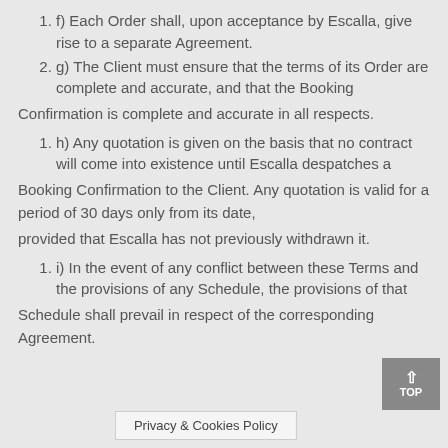f) Each Order shall, upon acceptance by Escalla, give rise to a separate Agreement.
g) The Client must ensure that the terms of its Order are complete and accurate, and that the Booking
Confirmation is complete and accurate in all respects.
h) Any quotation is given on the basis that no contract will come into existence until Escalla despatches a
Booking Confirmation to the Client. Any quotation is valid for a period of 30 days only from its date,
provided that Escalla has not previously withdrawn it.
i) In the event of any conflict between these Terms and the provisions of any Schedule, the provisions of that
Schedule shall prevail in respect of the corresponding Agreement.